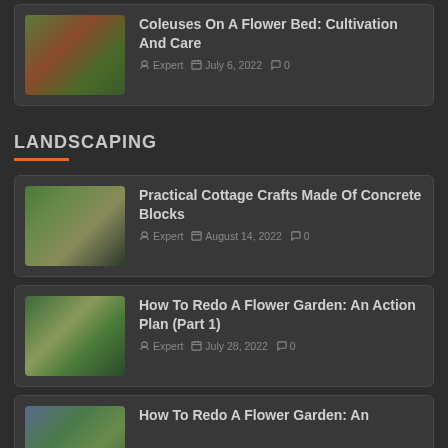Coleuses On A Flower Bed: Cultivation And Care — Expert, July 6, 2022, 0 comments
LANDSCAPING
Practical Cottage Crafts Made Of Concrete Blocks — Expert, August 14, 2022, 0 comments
How To Redo A Flower Garden: An Action Plan (Part 1) — Expert, July 28, 2022, 0 comments
How To Redo A Flower Garden: An...